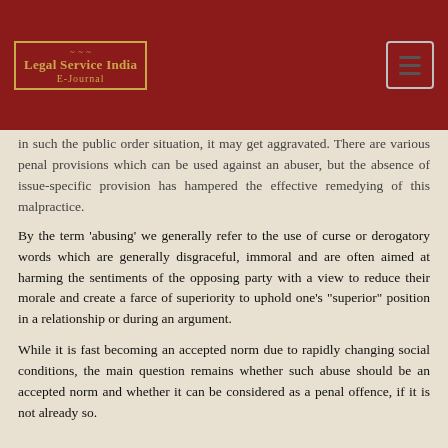Legal Service India E-Journal
in such the public order situation, it may get aggravated. There are various penal provisions which can be used against an abuser, but the absence of issue-specific provision has hampered the effective remedying of this malpractice.
By the term 'abusing' we generally refer to the use of curse or derogatory words which are generally disgraceful, immoral and are often aimed at harming the sentiments of the opposing party with a view to reduce their morale and create a farce of superiority to uphold one's "superior" position in a relationship or during an argument.
While it is fast becoming an accepted norm due to rapidly changing social conditions, the main question remains whether such abuse should be an accepted norm and whether it can be considered as a penal offence, if it is not already so.